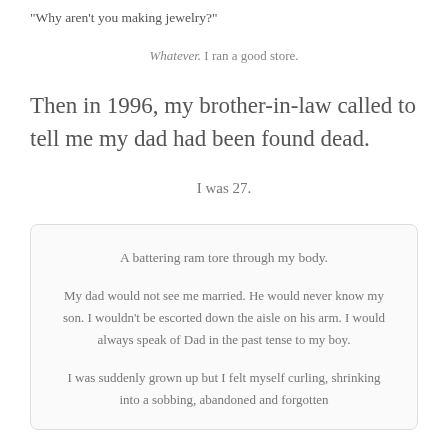"Why aren't you making jewelry?"
Whatever. I ran a good store.
Then in 1996, my brother-in-law called to tell me my dad had been found dead.
I was 27.
A battering ram tore through my body.

My dad would not see me married. He would never know my son. I wouldn't be escorted down the aisle on his arm. I would always speak of Dad in the past tense to my boy.

I was suddenly grown up but I felt myself curling, shrinking into a sobbing, abandoned and forgotten